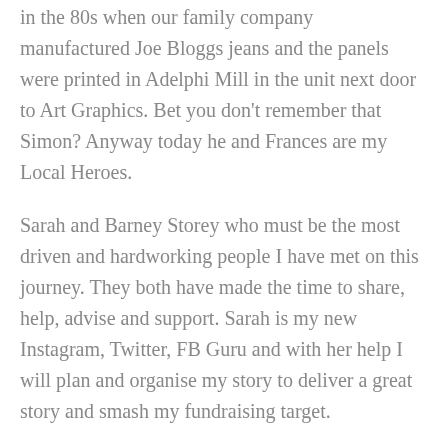in the 80s when our family company manufactured Joe Bloggs jeans and the panels were printed in Adelphi Mill in the unit next door to Art Graphics. Bet you don't remember that Simon? Anyway today he and Frances are my Local Heroes.
Sarah and Barney Storey who must be the most driven and hardworking people I have met on this journey. They both have made the time to share, help, advise and support. Sarah is my new Instagram, Twitter, FB Guru and with her help I will plan and organise my story to deliver a great story and smash my fundraising target.
Huge Thank You to Ian and Steph and the team at